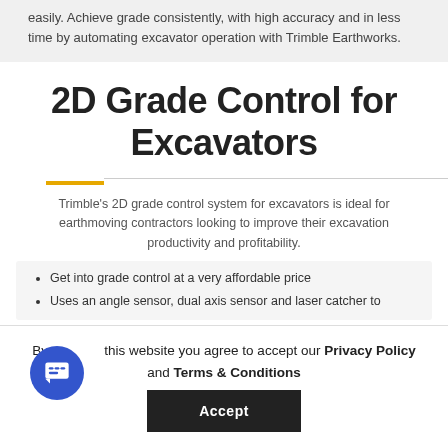easily. Achieve grade consistently, with high accuracy and in less time by automating excavator operation with Trimble Earthworks.
2D Grade Control for Excavators
Trimble's 2D grade control system for excavators is ideal for earthmoving contractors looking to improve their excavation productivity and profitability.
Get into grade control at a very affordable price
Uses an angle sensor, dual axis sensor and laser catcher to
By using this website you agree to accept our Privacy Policy and Terms & Conditions
Accept